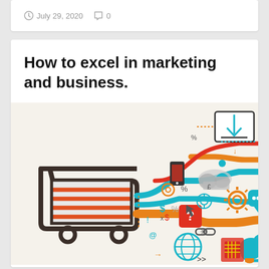July 29, 2020   0
How to excel in marketing and business.
[Figure (infographic): Marketing and business infographic showing a shopping cart on the left with colorful teal, orange, and red flowing lines connecting to various digital marketing icons: download, mobile, cloud, currency symbols, gears, chat bubbles, social media icons, globe, bird logo, and more on the right side.]